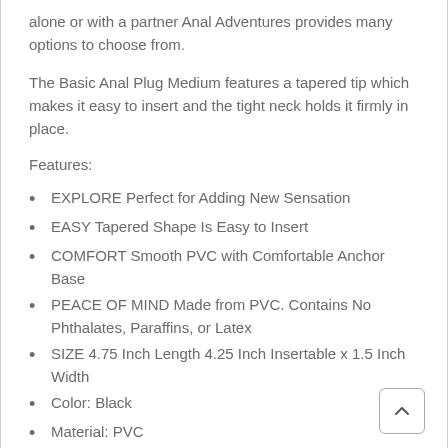alone or with a partner Anal Adventures provides many options to choose from.
The Basic Anal Plug Medium features a tapered tip which makes it easy to insert and the tight neck holds it firmly in place.
Features:
EXPLORE Perfect for Adding New Sensation
EASY Tapered Shape Is Easy to Insert
COMFORT Smooth PVC with Comfortable Anchor Base
PEACE OF MIND Made from PVC. Contains No Phthalates, Paraffins, or Latex
SIZE 4.75 Inch Length 4.25 Inch Insertable x 1.5 Inch Width
Color: Black
Material: PVC
Phthalate Free: Yes
Length Inches: 4.75